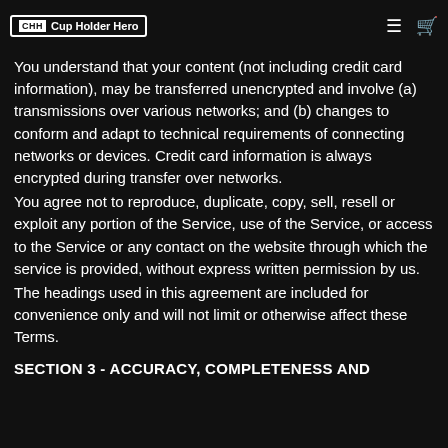Cup Holder Hero
We reserve the right to refuse service to anyone for any reason at any time.
You understand that your content (not including credit card information), may be transferred unencrypted and involve (a) transmissions over various networks; and (b) changes to conform and adapt to technical requirements of connecting networks or devices. Credit card information is always encrypted during transfer over networks.
You agree not to reproduce, duplicate, copy, sell, resell or exploit any portion of the Service, use of the Service, or access to the Service or any contact on the website through which the service is provided, without express written permission by us.
The headings used in this agreement are included for convenience only and will not limit or otherwise affect these Terms.
SECTION 3 - ACCURACY, COMPLETENESS AND